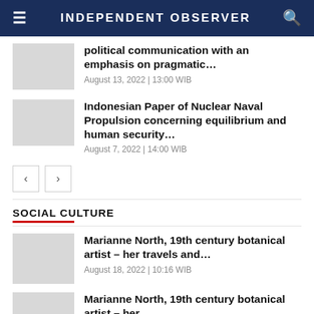INDEPENDENT OBSERVER
political communication with an emphasis on pragmatic…
August 13, 2022 | 13:00 WIB
Indonesian Paper of Nuclear Naval Propulsion concerning equilibrium and human security…
August 7, 2022 | 14:00 WIB
SOCIAL CULTURE
Marianne North, 19th century botanical artist – her travels and…
August 18, 2022 | 10:16 WIB
Marianne North, 19th century botanical artist – her…